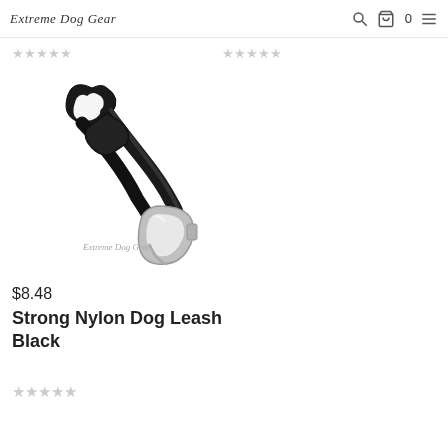Extreme Dog Gear — navigation header with logo, search, cart (0), and menu icons
[Figure (photo): Black nylon dog leash coiled with a silver carabiner-style clip, product photo on white background with Extreme Dog Gear watermark logo]
$8.48
Strong Nylon Dog Leash Black
☆☆☆☆☆ (0 out of 5 stars)